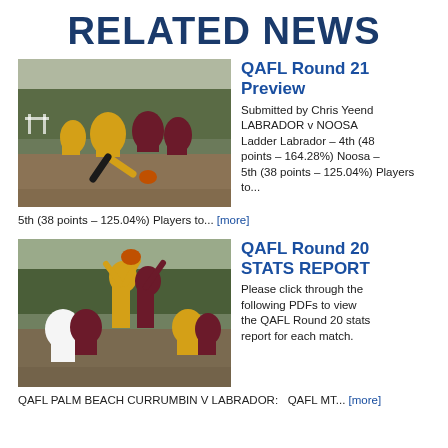RELATED NEWS
QAFL Round 21 Preview
[Figure (photo): Australian rules football players competing on field, one player in yellow and black kicking the ball while players in maroon contest]
Submitted by Chris Yeend LABRADOR v NOOSA Ladder Labrador – 4th (48 points – 164.28%) Noosa – 5th (38 points – 125.04%) Players to… [more]
QAFL Round 20 STATS REPORT
[Figure (photo): Australian rules football players competing in a ruck contest, players in yellow and maroon jumping for the ball]
Please click through the following PDFs to view the QAFL Round 20 stats report for each match. QAFL PALM BEACH CURRUMBIN V LABRADOR:   QAFL MT… [more]